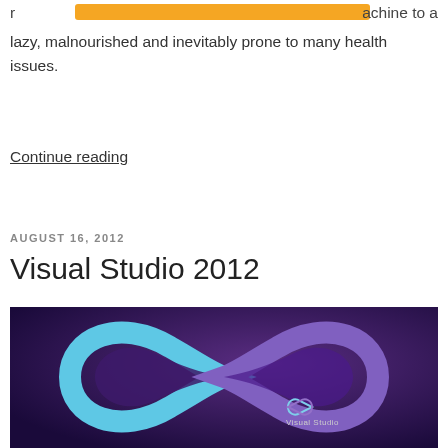r                                                                    achine to a lazy, malnourished and inevitably prone to many health issues.
Continue reading
AUGUST 16, 2012
Visual Studio 2012
[Figure (logo): Visual Studio 2012 infinity-loop logo on dark purple background with 'Visual Studio' text and infinity symbol icon in the center-right area.]